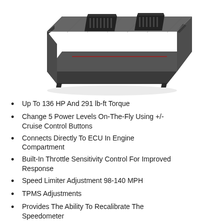[Figure (photo): A dark grey automotive ECU (Engine Control Unit) module shown in a 3D angled perspective view. The rectangular unit has two connector ports/slots on top and mounting clips on its edges. It appears to be made of reinforced plastic or metal composite.]
Up To 136 HP And 291 lb-ft Torque
Change 5 Power Levels On-The-Fly Using +/- Cruise Control Buttons
Connects Directly To ECU In Engine Compartment
Built-In Throttle Sensitivity Control For Improved Response
Speed Limiter Adjustment 98-140 MPH
TPMS Adjustments
Provides The Ability To Recalibrate The Speedometer
Transmission Relearn